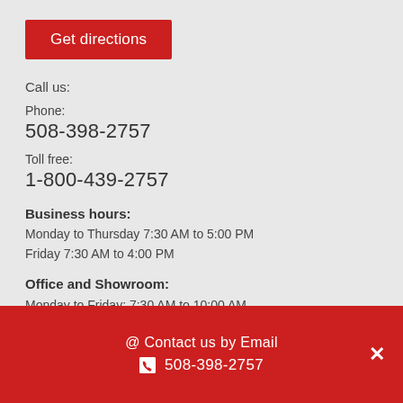Get directions
Call us:
Phone:
508-398-2757
Toll free:
1-800-439-2757
Business hours:
Monday to Thursday 7:30 AM to 5:00 PM
Friday 7:30 AM to 4:00 PM
Office and Showroom:
Monday to Friday: 7:30 AM to 10:00 AM
or by appointment.
@ Contact us by Email
📞 508-398-2757